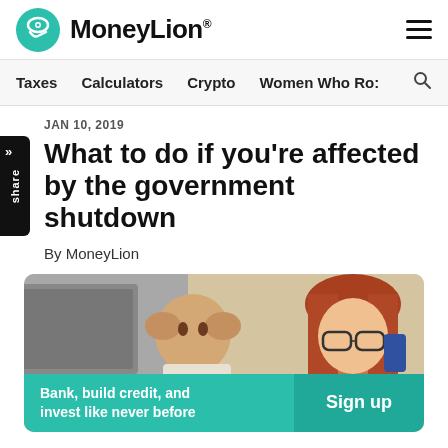[Figure (logo): MoneyLion logo with teal circular icon and wordmark]
Taxes | Calculators | Crypto | Women Who Ro:
JAN 10, 2019
What to do if you're affected by the government shutdown
By MoneyLion
[Figure (photo): Two stressed people (a man and a woman with glasses) with hands on their heads, looking at something off screen]
Bank, build credit, and invest like never before
Sign up